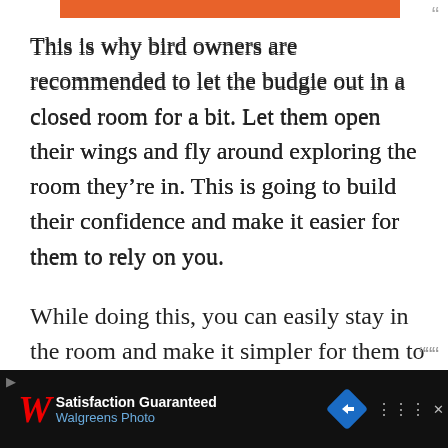[Figure (other): Orange horizontal bar at top of page]
This is why bird owners are recommended to let the budgie out in a closed room for a bit. Let them open their wings and fly around exploring the room they’re in. This is going to build their confidence and make it easier for them to rely on you.
While doing this, you can easily stay in the room and make it simpler for them to trust you.
Even if you simply sit to the side, it’s about making it easier for them to get used to your
[Figure (other): Walgreens advertisement banner at bottom: Satisfaction Guaranteed, Walgreens Photo]